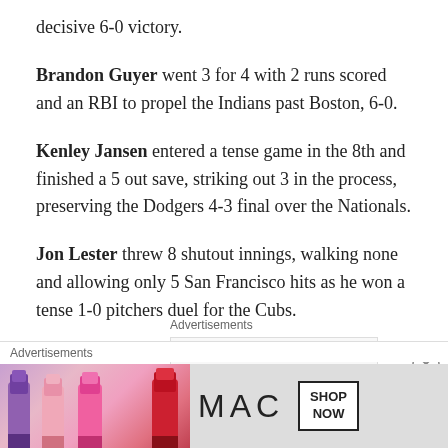decisive 6-0 victory.
Brandon Guyer went 3 for 4 with 2 runs scored and an RBI to propel the Indians past Boston, 6-0.
Kenley Jansen entered a tense game in the 8th and finished a 5 out save, striking out 3 in the process, preserving the Dodgers 4-3 final over the Nationals.
Jon Lester threw 8 shutout innings, walking none and allowing only 5 San Francisco hits as he won a tense 1-0 pitchers duel for the Cubs.
Advertisements
[Figure (screenshot): Automattic advertisement showing logo and tagline 'Build a better web and a better world']
Advertisements
[Figure (photo): MAC cosmetics advertisement showing lipsticks in purple, pink, red colors with MAC logo and SHOP NOW button]